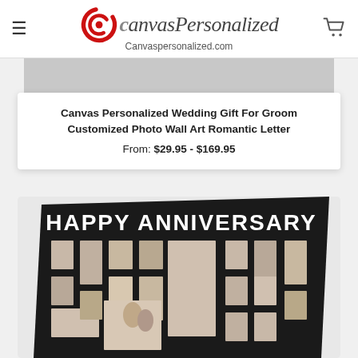Canvas Personalized — Canvaspersonalized.com
[Figure (photo): Gray placeholder/partial product image at top of product listing]
Canvas Personalized Wedding Gift For Groom Customized Photo Wall Art Romantic Letter
From: $29.95 - $169.95
[Figure (photo): Happy Anniversary canvas print showing a photo collage with wedding/couple photos arranged to spell out letters, reading HAPPY ANNIVERSARY on a dark background]